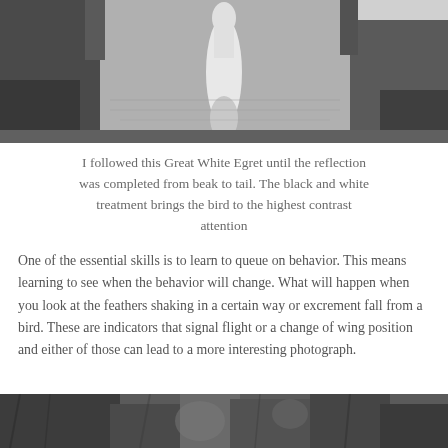[Figure (photo): Black and white photograph of a Great White Egret with its reflection visible in water below, shot from above showing the bird and rocky surroundings.]
I followed this Great White Egret until the reflection was completed from beak to tail. The black and white treatment brings the bird to the highest contrast attention
One of the essential skills is to learn to queue on behavior. This means learning to see when the behavior will change. What will happen when you look at the feathers shaking in a certain way or excrement fall from a bird. These are indicators that signal flight or a change of wing position and either of those can lead to a more interesting photograph.
[Figure (photo): Black and white close-up photograph showing dark feathers or fur texture, partially visible at the bottom of the page.]